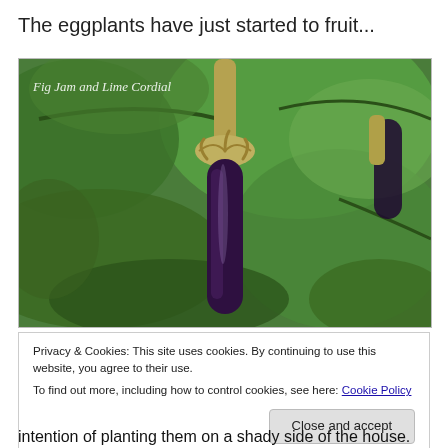The eggplants have just started to fruit...
[Figure (photo): Close-up photo of a young eggplant (aubergine) growing on the vine, surrounded by green leaves. Watermark text reads 'Fig Jam and Lime Cordial'. The eggplant is dark purple with a light tan/yellow calyx.]
Privacy & Cookies: This site uses cookies. By continuing to use this website, you agree to their use.
To find out more, including how to control cookies, see here: Cookie Policy
Close and accept
intention of planting them on a shady side of the house.